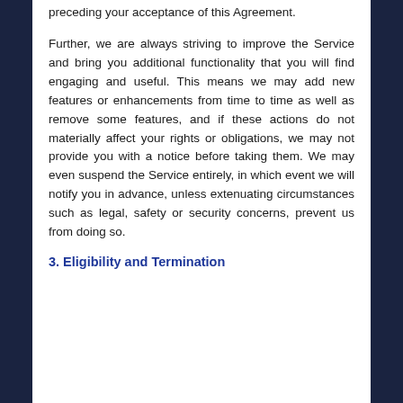limited to claims, agreements, and conduct preceding your acceptance of this Agreement.
Further, we are always striving to improve the Service and bring you additional functionality that you will find engaging and useful. This means we may add new features or enhancements from time to time as well as remove some features, and if these actions do not materially affect your rights or obligations, we may not provide you with a notice before taking them. We may even suspend the Service entirely, in which event we will notify you in advance, unless extenuating circumstances such as legal, safety or security concerns, prevent us from doing so.
3. Eligibility and Termination